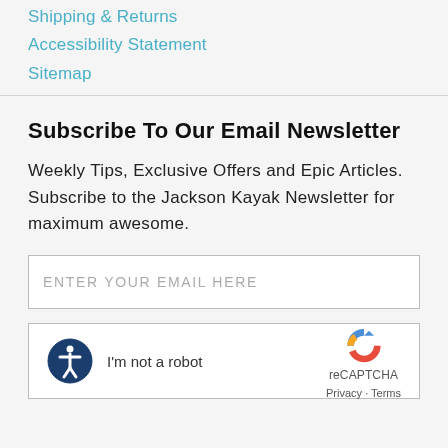Shipping & Returns
Accessibility Statement
Sitemap
Subscribe To Our Email Newsletter
Weekly Tips, Exclusive Offers and Epic Articles. Subscribe to the Jackson Kayak Newsletter for maximum awesome.
ENTER YOUR EMAIL HERE
[Figure (other): reCAPTCHA widget with accessibility icon, 'I'm not a robot' checkbox label, and reCAPTCHA logo with Privacy and Terms links]